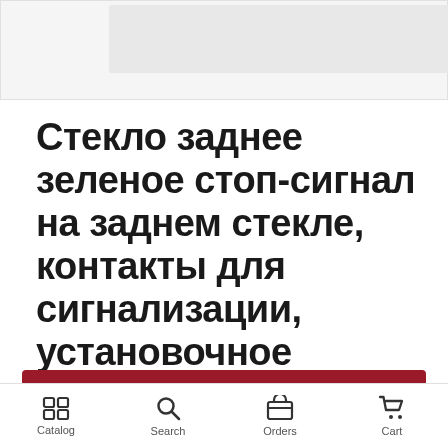[Figure (photo): Product image placeholder area, light gray background with inner gray rectangle]
Стекло заднее зеленое стоп-сигнал на заднем стекле, контакты для сигнализации, установочное оборудование
Learn the price
Catalog  Search  Orders  Cart